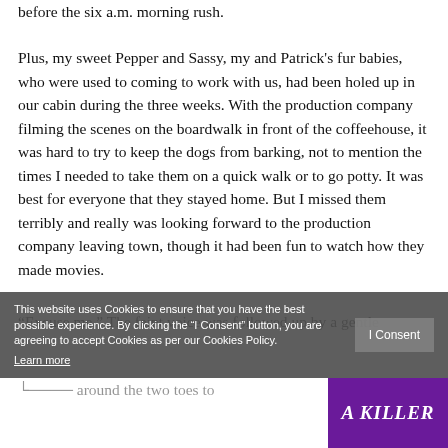before the six a.m. morning rush.
Plus, my sweet Pepper and Sassy, my and Patrick's fur babies, who were used to coming to work with us, had been holed up in our cabin during the three weeks. With the production company filming the scenes on the boardwalk in front of the coffeehouse, it was hard to try to keep the dogs from barking, not to mention the times I needed to take them on a quick walk or to go potty. It was best for everyone that they stayed home. But I missed them terribly and really was looking forward to the production company leaving town, though it had been fun to watch how they made movies.
“Excuse me.” The faint voice was followed up by a gentle
This website uses Cookies to ensure that you have the best possible experience. By clicking the “I Consent” button, you are agreeing to accept Cookies as per our Cookies Policy. Learn more
[Figure (other): Book cover showing 'A KILLER' text on purple background]